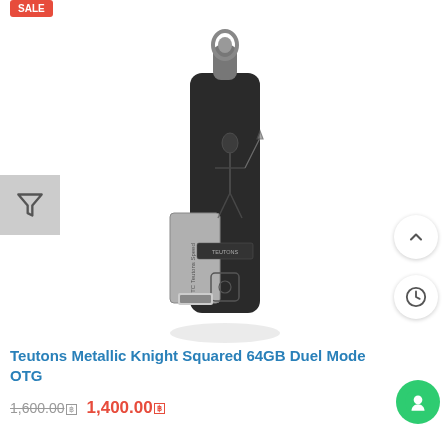[Figure (photo): A Teutons Metallic Knight Squared 64GB Dual Mode OTG USB flash drive, shown at an angle. The drive has a dark metallic body with a knight/warrior engraving and a silver/grey sliding USB connector. It has a loop at the top for attaching a keychain.]
Teutons Metallic Knight Squared 64GB Duel Mode OTG
1,600.00฿  1,400.00฿